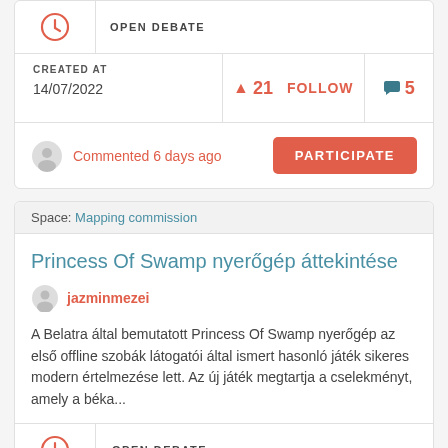| OPEN DEBATE |
| CREATED AT
14/07/2022 | ▲ 21  FOLLOW | ■ 5 |
| Commented 6 days ago | PARTICIPATE |
Space: Mapping commission
Princess Of Swamp nyerőgép áttekintése
jazminmezei
A Belatra által bemutatott Princess Of Swamp nyerőgép az első offline szobák látogatói által ismert hasonló játék sikeres modern értelmezése lett. Az új játék megtartja a cselekményt, amely a béka...
OPEN DEBATE